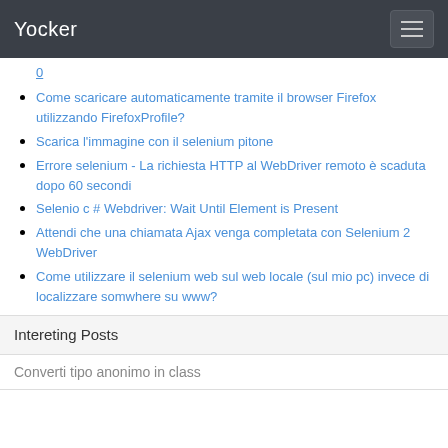Yocker
0
Come scaricare automaticamente tramite il browser Firefox utilizzando FirefoxProfile?
Scarica l'immagine con il selenium pitone
Errore selenium - La richiesta HTTP al WebDriver remoto è scaduta dopo 60 secondi
Selenio c # Webdriver: Wait Until Element is Present
Attendi che una chiamata Ajax venga completata con Selenium 2 WebDriver
Come utilizzare il selenium web sul web locale (sul mio pc) invece di localizzare somwhere su www?
Intereting Posts
Converti tipo anonimo in class